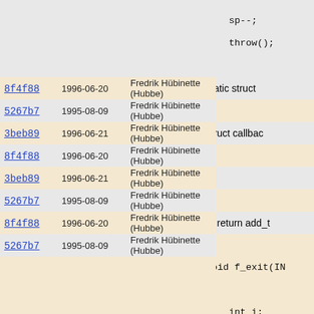| Hash | Date | Author |
| --- | --- | --- |
| (blank) | (blank) | (blank) |
| 8f4f88 | 1996-06-20 | Fredrik Hübinette (Hubbe) |
| 5267b7 | 1995-08-09 | Fredrik Hübinette (Hubbe) |
| 3beb89 | 1996-06-21 | Fredrik Hübinette (Hubbe) |
| 8f4f88 | 1996-06-20 | Fredrik Hübinette (Hubbe) |
| 3beb89 | 1996-06-21 | Fredrik Hübinette (Hubbe) |
| 5267b7 | 1995-08-09 | Fredrik Hübinette (Hubbe) |
| 8f4f88 | 1996-06-20 | Fredrik Hübinette (Hubbe) |
| 5267b7 | 1995-08-09 | Fredrik Hübinette (Hubbe) |
| (blank) | (blank) | (blank) |
| cb2256 | 1995-10-11 | Fredrik Hübinette (Hubbe) |
| 5267b7 | 1995-08-09 | Fredrik Hübinette (Hubbe) |
| (blank) | (blank) | (blank) |
| 52c0d3 | 1996-07-01 | Fredrik Hübinette (Hubbe) |
[Figure (screenshot): Code panel showing C source lines: sp--; throw(); } static struct  struct callbac  {  return add_t } void f_exit(IN { int i; if(args < 1) error("Too if(sp[-args] error("Bad call_callba]